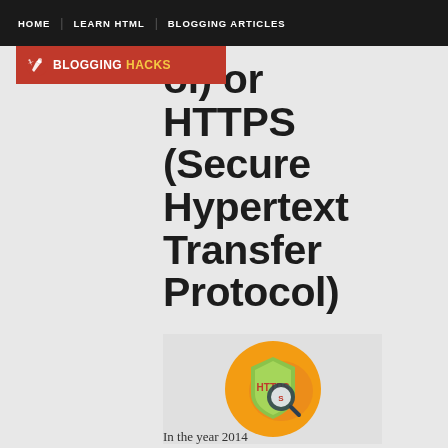HOME | LEARN HTML | BLOGGING ARTICLES
[Figure (logo): Blogging Hacks logo badge in red with pen icon]
ol) or HTTPS (Secure Hypertext Transfer Protocol)
[Figure (illustration): HTTPS security shield icon with magnifying glass on orange circular background]
In the year 2014
Google has officially